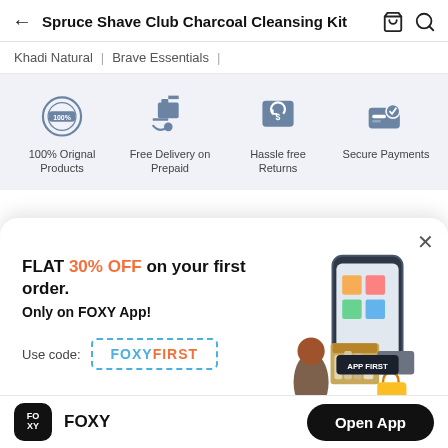Spruce Shave Club Charcoal Cleansing Kit
Khadi Natural | Brave Essentials |
[Figure (infographic): Four benefit icons: 100% Original Products, Free Delivery on Prepaid, Hassle free Returns, Secure Payments on a light blue-grey background]
100% Orignal Products
Free Delivery on Prepaid
Hassle free Returns
Secure Payments
[Figure (illustration): Popup banner showing FLAT 30% OFF on your first order. Only on FOXY App! Use code: FOXYFIRST, with illustration of person sitting with phone and shopping bags]
FLAT 30% OFF on your first order. Only on FOXY App!
Use code: FOXYFIRST
FOXY
Open App